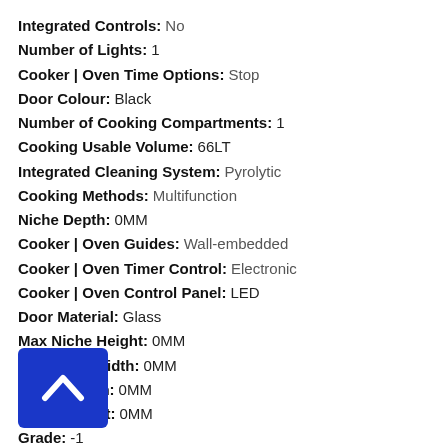Integrated Controls: No
Number of Lights: 1
Cooker | Oven Time Options: Stop
Door Colour: Black
Number of Cooking Compartments: 1
Cooking Usable Volume: 66LT
Integrated Cleaning System: Pyrolytic
Cooking Methods: Multifunction
Niche Depth: 0MM
Cooker | Oven Guides: Wall-embedded
Cooker | Oven Timer Control: Electronic
Cooker | Oven Control Panel: LED
Door Material: Glass
Max Niche Height: 0MM
Min Niche Width: 0MM
Max Niche Width: 0MM
Min Niche Height: 0MM
Grade: -1